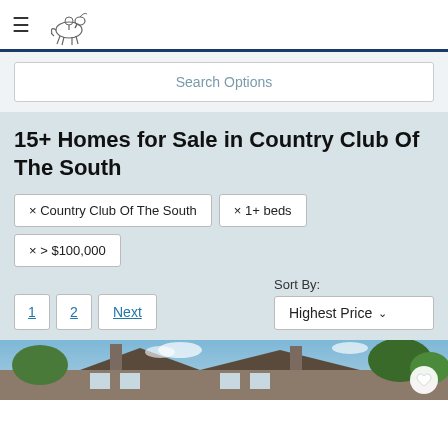≡  [Logo]
Search Options
15+ Homes for Sale in Country Club Of The South
× Country Club Of The South
× 1+ beds
× > $100,000
1  2  Next  |  Sort By: Highest Price
[Figure (photo): Partial view of a large house with brick chimneys under a blue sky with trees]